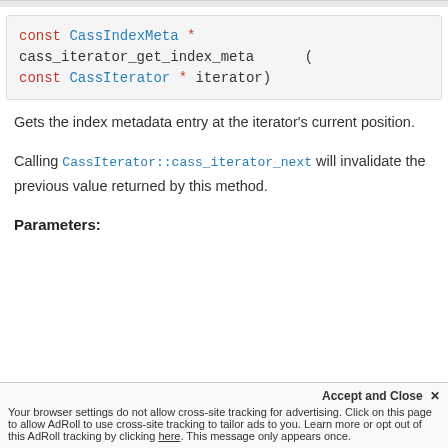[Figure (other): Code block showing function signature: const CassIndexMeta * cass_iterator_get_index_meta (const CassIterator * iterator)]
Gets the index metadata entry at the iterator's current position.
Calling CassIterator::cass_iterator_next will invalidate the previous value returned by this method.
Parameters:
Your browser settings do not allow cross-site tracking for advertising. Click on this page to allow AdRoll to use cross-site tracking to tailor ads to you. Learn more or opt out of this AdRoll tracking by clicking here. This message only appears once.